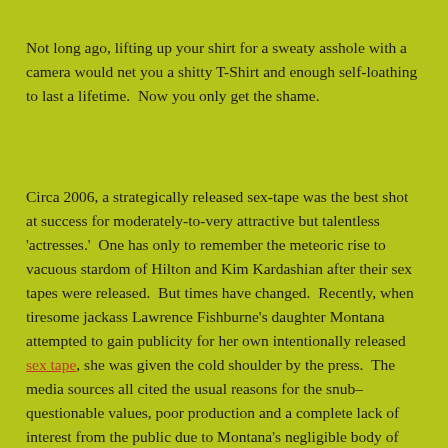Not long ago, lifting up your shirt for a sweaty asshole with a camera would net you a shitty T-Shirt and enough self-loathing to last a lifetime.  Now you only get the shame.
Circa 2006, a strategically released sex-tape was the best shot at success for moderately-to-very attractive but talentless 'actresses.'  One has only to remember the meteoric rise to vacuous stardom of Hilton and Kim Kardashian after their sex tapes were released.  But times have changed.  Recently, when tiresome jackass Lawrence Fishburne's daughter Montana attempted to gain publicity for her own intentionally released sex tape, she was given the cold shoulder by the press.  The media sources all cited the usual reasons for the snub–questionable values, poor production and a complete lack of interest from the public due to Montana's negligible body of work, etc.–